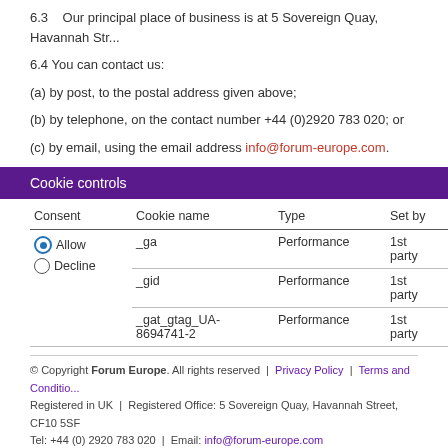6.3   Our principal place of business is at 5 Sovereign Quay, Havannah Str...
6.4 You can contact us:
(a) by post, to the postal address given above;
(b) by telephone, on the contact number +44 (0)2920 783 020; or
(c) by email, using the email address info@forum-europe.com.
Cookie controls
| Consent | Cookie name | Type | Set by | Contains |
| --- | --- | --- | --- | --- |
| Allow / Decline | _ga | Performance | 1st party | Unique anony... |
|  | _gid | Performance | 1st party | Anonymous m... the request ra... |
|  | _gat_gtag_UA-8694741-2 | Performance | 1st party | 1 |
© Copyright Forum Europe. All rights reserved | Privacy Policy | Terms and Conditio... Registered in UK | Registered Office: 5 Sovereign Quay, Havannah Street, CF10 5SF Tel: +44 (0) 2920 783 020 | Email: info@forum-europe.com